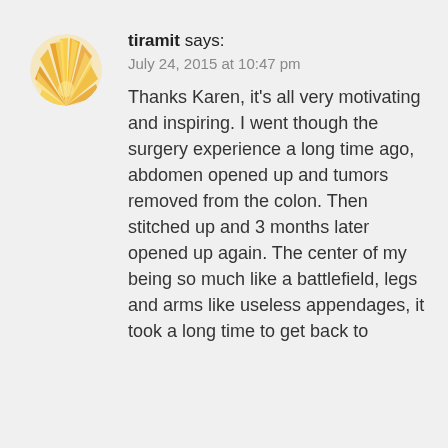[Figure (illustration): Circular avatar image showing a golden/yellow shell or sunburst pattern]
tiramit says:
July 24, 2015 at 10:47 pm
Thanks Karen, it's all very motivating and inspiring. I went though the surgery experience a long time ago, abdomen opened up and tumors removed from the colon. Then stitched up and 3 months later opened up again. The center of my being so much like a battlefield, legs and arms like useless appendages, it took a long time to get back to